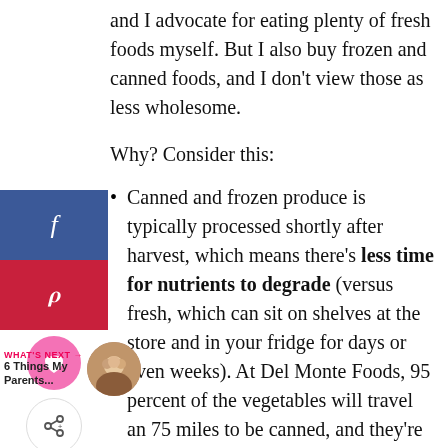and I advocate for eating plenty of fresh foods myself. But I also buy frozen and canned foods, and I don't view those as less wholesome.
Why? Consider this:
Canned and frozen produce is typically processed shortly after harvest, which means there's less time for nutrients to degrade (versus fresh, which can sit on shelves at the store and in your fridge for days or even weeks). At Del Monte Foods, 95 percent of the vegetables will travel an 75 miles to be canned, and they're picked and packed within hours.
[Figure (other): Social media sharing sidebar with Facebook (blue), Pinterest (red), heart/save (pink circle), and share (white circle with share icon) buttons]
[Figure (other): What's Next promo: label 'WHAT'S NEXT →', title '6 Things My Parents...', circular thumbnail photo of group of people]